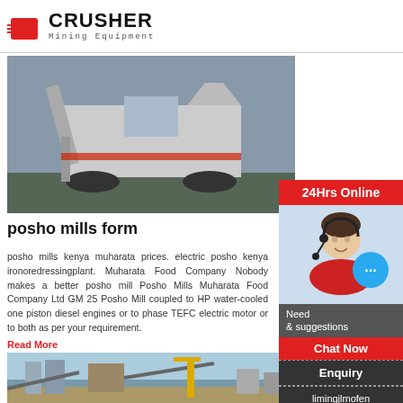[Figure (logo): Crusher Mining Equipment logo with red shopping bag icon and bold CRUSHER text]
[Figure (photo): Mobile crusher/mining equipment on tracks in a field]
posho mills form
posho mills kenya muharata prices. electric posho kenya ironoredressingplant. Muharata Food Company Nobody makes a better posho mill Posho Mills Muharata Food Company Ltd GM 25 Posho Mill coupled to HP water-cooled one piston diesel engines or to phase TEFC electric motor or to both as per your requirement.
Read More
[Figure (photo): Industrial mining/crushing plant with conveyor belts and silos]
[Figure (photo): 24Hrs Online sidebar with customer service representative wearing headset]
24Hrs Online
Need & suggestions
Chat Now
Enquiry
limingjlmofen@sina.com